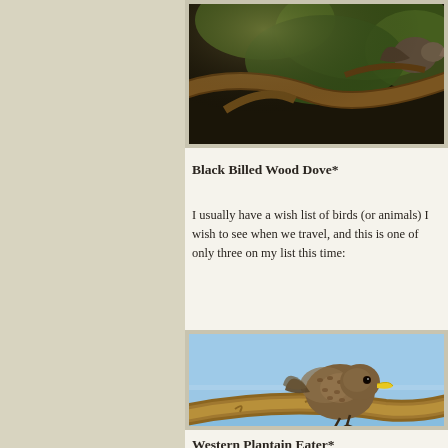[Figure (photo): Partial photo of a bird (Black Billed Wood Dove) perched on branches with green foliage background, cropped at top of page]
Black Billed Wood Dove*
I usually have a wish list of birds (or animals) I wish to see when we travel, and this is one of only three on my list this time:
[Figure (photo): Western Plantain Eater bird with brown/buff speckled plumage and bright yellow beak perched on a branch, blue sky background]
Western Plantain Eater*